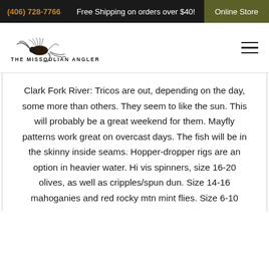(406) 728-7766  Free Shipping on orders over $40!  Online Store
[Figure (logo): The Missoulian Angler Fly Shop logo with fly fishing lure illustration]
Clark Fork River: Tricos are out, depending on the day, some more than others. They seem to like the sun. This will probably be a great weekend for them. Mayfly patterns work great on overcast days. The fish will be in the skinny inside seams. Hopper-dropper rigs are an option in heavier water. Hi vis spinners, size 16-20 olives, as well as cripples/spun dun. Size 14-16 mahoganies and red rocky mtn mint flies. Size 6-10